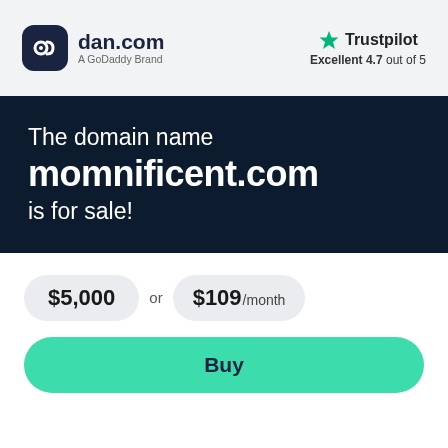[Figure (logo): dan.com logo with dark rounded square icon and text 'dan.com', subtitle 'A GoDaddy Brand']
[Figure (logo): Trustpilot logo with green star, text 'Trustpilot', rating 'Excellent 4.7 out of 5']
The domain name momnificent.com is for sale!
$5,000 or $109 /month
Buy